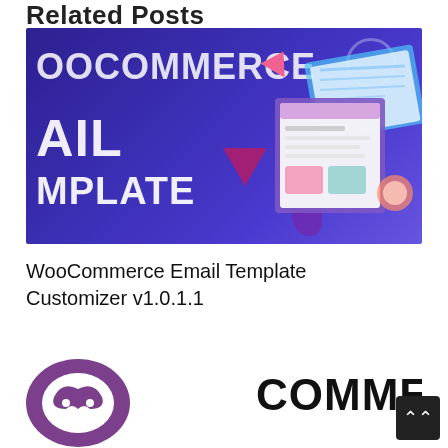Related Posts
[Figure (illustration): WooCommerce Email Template promotional banner with blue/purple gradient background, large white text reading 'WOOCOMMERCE', 'AIL', 'MPLATE' and decorative UI screen illustrations on the right side]
WooCommerce Email Template Customizer v1.0.1.1
[Figure (logo): WooCommerce logo showing a circular purple/pink woo symbol on left and partial text 'COMMER' in bold black on the right, partially cropped]